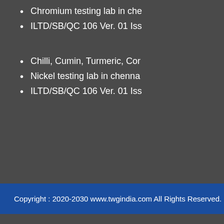Chromium testing lab in che
ILTD/SB/QC 106 Ver. 01 Iss
Chilli, Cumin, Turmeric, Cor
Nickel testing lab in chenna
ILTD/SB/QC 106 Ver. 01 Iss
Copyright : 2020-2030 www.twgindia.com All Rights Reserved.